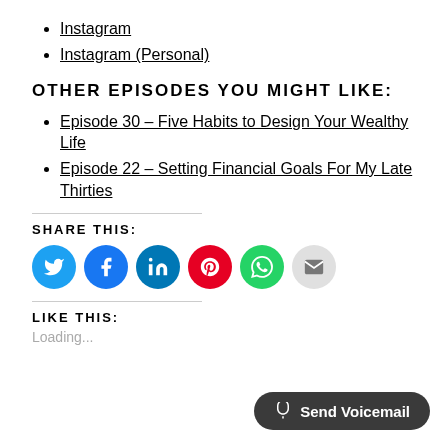Instagram
Instagram (Personal)
OTHER EPISODES YOU MIGHT LIKE:
Episode 30 – Five Habits to Design Your Wealthy Life
Episode 22 – Setting Financial Goals For My Late Thirties
SHARE THIS:
[Figure (infographic): Social share buttons: Twitter (blue), Facebook (blue), LinkedIn (blue), Pinterest (red), WhatsApp (green), Email (grey)]
LIKE THIS:
Loading...
Send Voicemail